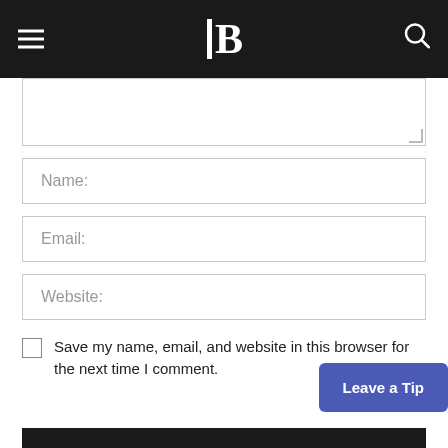B (logo with vertical bar) — hamburger menu and search icon
[Figure (screenshot): Comment form textarea (empty, resizable)]
Name:
Email:
Website:
Save my name, email, and website in this browser for the next time I comment.
Leave a Tip
POST COMMENT
This site uses Akismet to reduce spam. Learn how your comment